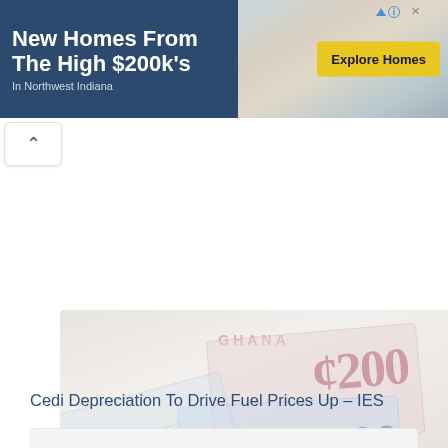[Figure (other): Advertisement banner for New Homes From The High $200k's in Northwest Indiana with Explore Homes CTA button and kitchen image]
[Figure (photo): Faded/watermarked Ghanaian currency notes (cedi) showing denominations 200, 100, 50, and 2 spread out on a light surface]
Cedi Depreciation To Drive Fuel Prices Up – IES